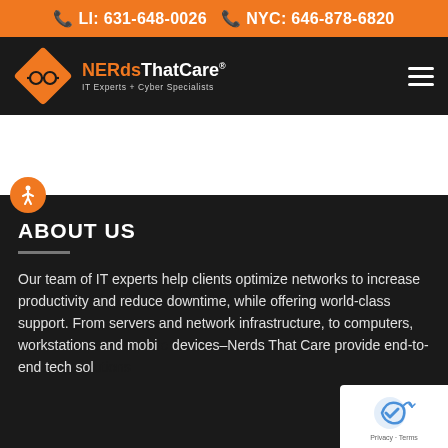LI: 631-648-0026  NYC: 646-878-6820
[Figure (logo): NERdsThatCare logo — orange diamond with glasses icon, orange and white wordmark, tagline IT Experts + Cyber Specialists]
ABOUT US
Our team of IT experts help clients optimize networks to increase productivity and reduce downtime, while offering world-class support. From servers and network infrastructure, to computers, workstations and mobile devices–Nerds That Care provide end-to-end tech solutions